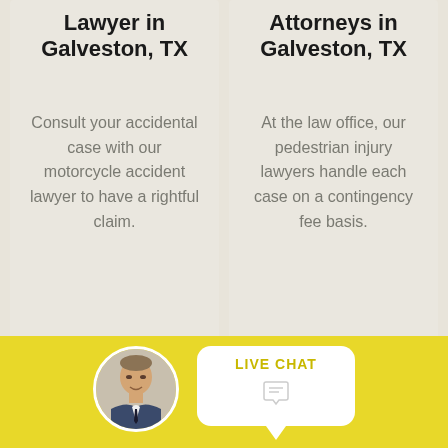Lawyer in Galveston, TX
Consult your accidental case with our motorcycle accident lawyer to have a rightful claim.
Attorneys in Galveston, TX
At the law office, our pedestrian injury lawyers handle each case on a contingency fee basis.
[Figure (photo): Circular avatar photo of a man in a suit, partially visible at the bottom of the page]
LIVE CHAT